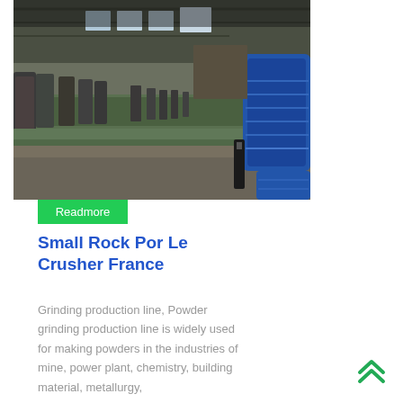[Figure (photo): Industrial grinding/flotation production line inside a large factory hall, with rows of green metal machines and blue electric motors visible in the foreground on the right.]
Small Rock Por Le Crusher France
Grinding production line, Powder grinding production line is widely used for making powders in the industries of mine, power plant, chemistry, building material, metallurgy,